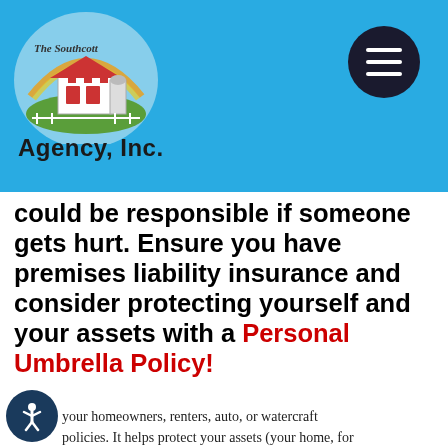[Figure (logo): The Southcott Agency, Inc. logo with a red barn and rainbow on a sky background, circular illustration]
Agency, Inc.
[Figure (other): Dark circular hamburger menu button with three white horizontal bars]
could be responsible if someone gets hurt. Ensure you have premises liability insurance and consider protecting yourself and your assets with a Personal Umbrella Policy!
What is a Personal Umbrella?
A personal umbrella provides affordable coverage beyond your basic policies, such
your homeowners, renters, auto, or watercraft policies. It helps protect your assets (your home, for